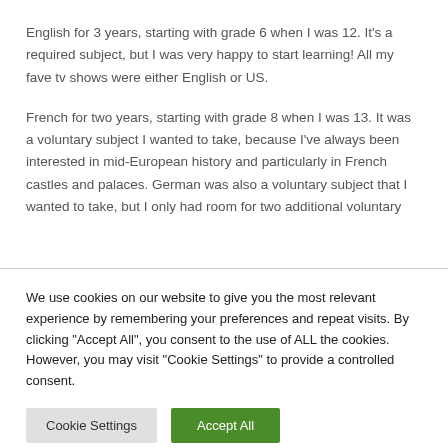English for 3 years, starting with grade 6 when I was 12. It's a required subject, but I was very happy to start learning! All my fave tv shows were either English or US.
French for two years, starting with grade 8 when I was 13. It was a voluntary subject I wanted to take, because I've always been interested in mid-European history and particularly in French castles and palaces. German was also a voluntary subject that I wanted to take, but I only had room for two additional voluntary
We use cookies on our website to give you the most relevant experience by remembering your preferences and repeat visits. By clicking "Accept All", you consent to the use of ALL the cookies. However, you may visit "Cookie Settings" to provide a controlled consent.